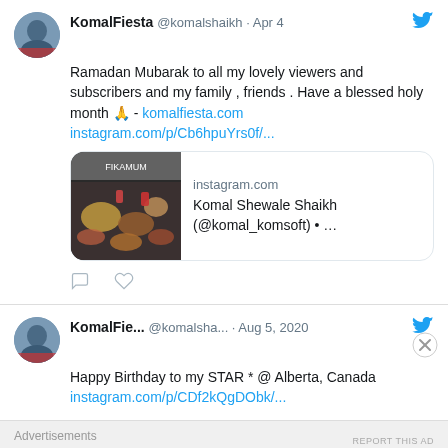KomalFiesta @komalshaikh · Apr 4 — Ramadan Mubarak to all my lovely viewers and subscribers and my family , friends . Have a blessed holy month 🙏 - komalfiesta.com instagram.com/p/Cb6hpuYrs0f/...
[Figure (screenshot): Instagram link preview card showing a food spread on a dining table, with text: instagram.com / Komal Shewale Shaikh (@komal_komsoft) • ...]
KomalFie... @komalsha... · Aug 5, 2020 — Happy Birthday to my STAR * @ Alberta, Canada instagram.com/p/CDf2kQgDObk/...
Advertisements
AUTOMATTIC — Build a better web and a better world.